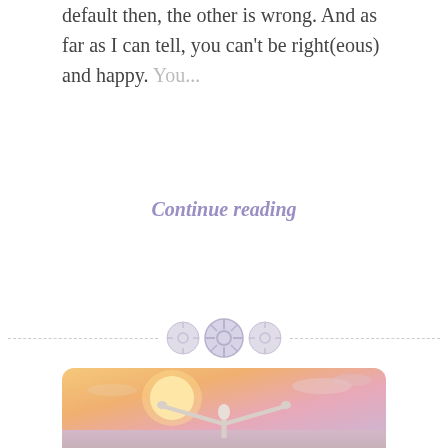default then, the other is wrong. And as far as I can tell, you can't be right(eous) and happy. You...
Continue reading
[Figure (illustration): Decorative divider with three button-like circular icons on a dashed horizontal line]
[Figure (photo): Person viewed from behind with arms outstretched wide against a warm sunset sky with soft pink and golden hues]